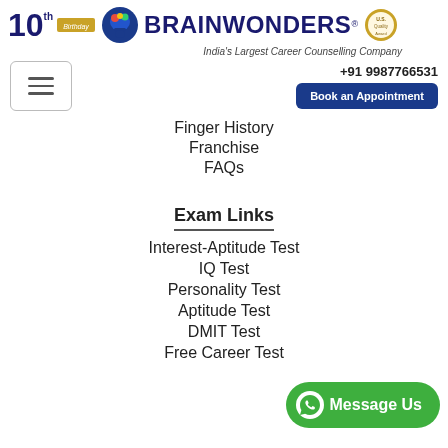[Figure (logo): Brainwonders logo with 10th birthday badge, brain icon, and award seal. Tagline: India's Largest Career Counselling Company]
+91 9987766531
Book an Appointment
Finger History
Franchise
FAQs
Exam Links
Interest-Aptitude Test
IQ Test
Personality Test
Aptitude Test
DMIT Test
Free Career Test
[Figure (other): WhatsApp Message Us green button bubble]